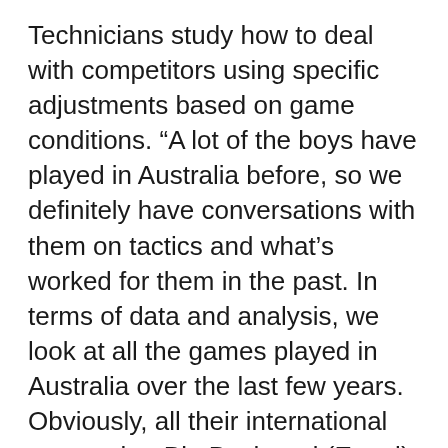Technicians study how to deal with competitors using specific adjustments based on game conditions. “A lot of the boys have played in Australia before, so we definitely have conversations with them on tactics and what’s worked for them in the past. In terms of data and analysis, we look at all the games played in Australia over the last few years. Obviously, all their international games, but Big Bash and (Equal) scores.
That means the likes of Ravi Bishnoi, who is predominantly a Googly bowler, will be the third spinner after Yuvvendra Chahal and Ravindra Jadeja, or left-handed Akshar Patel. In the pace pack, Kumar, Jaspreet Bumrah and Mohammed Shami have the pace